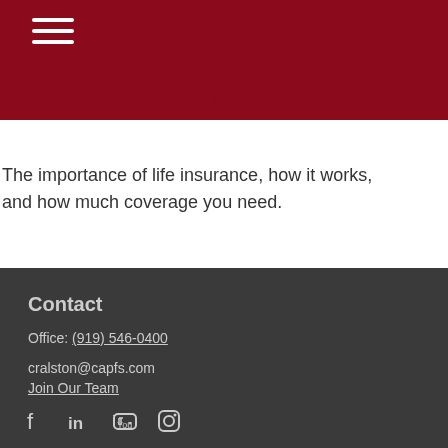Protecting Those Who Matter Most
The importance of life insurance, how it works, and how much coverage you need.
Contact
Office: (919) 546-0400
cralston@capfs.com
Join Our Team